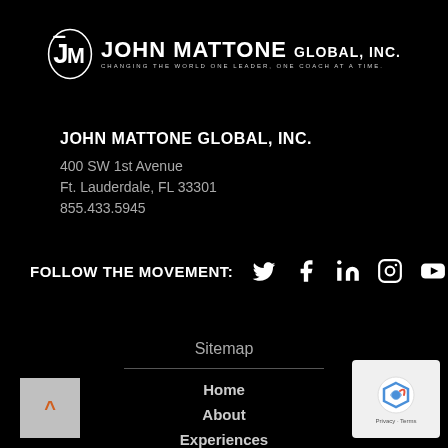[Figure (logo): John Mattone Global, Inc. logo with JM monogram and company name]
JOHN MATTONE GLOBAL, INC.
400 SW 1st Avenue
Ft. Lauderdale, FL 33301
855.433.5945
FOLLOW THE MOVEMENT:
[Figure (infographic): Social media icons: Twitter, Facebook, LinkedIn, Instagram, YouTube]
Sitemap
Home
About
Experiences